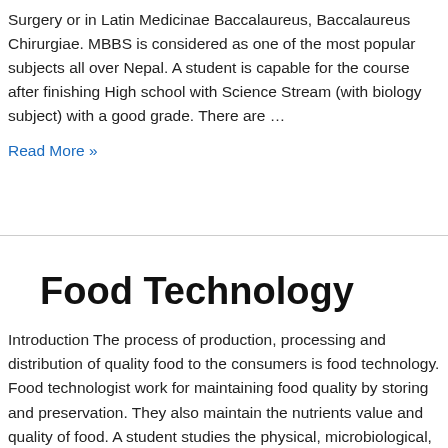Surgery or in Latin Medicinae Baccalaureus, Baccalaureus Chirurgiae. MBBS is considered as one of the most popular subjects all over Nepal. A student is capable for the course after finishing High school with Science Stream (with biology subject) with a good grade. There are …
Read More »
Food Technology
Introduction The process of production, processing and distribution of quality food to the consumers is food technology. Food technologist work for maintaining food quality by storing and preservation. They also maintain the nutrients value and quality of food. A student studies the physical, microbiological, and chemical